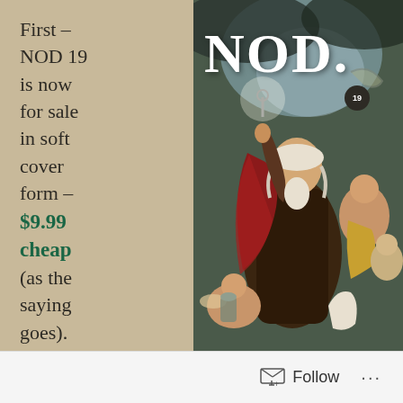First – NOD 19 is now for sale in soft cover form – $9.99 cheap (as the saying goes).

Second
[Figure (illustration): Classical oil painting style illustration showing an elderly man (resembling Benjamin Franklin) raising his arm dramatically with a key, surrounded by cherubs and mythological figures, with the word NOD overlaid in large white serif letters and a small numbered badge '19'.]
Follow ···